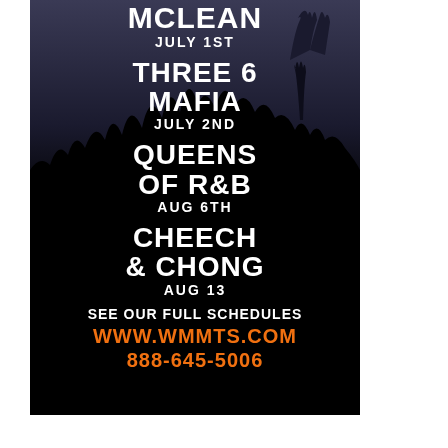MCLEAN
JULY 1ST
THREE 6 MAFIA
JULY 2ND
QUEENS OF R&B
AUG 6TH
CHEECH & CHONG
AUG 13
SEE OUR FULL SCHEDULES
WWW.WMMTS.COM
888-645-5006